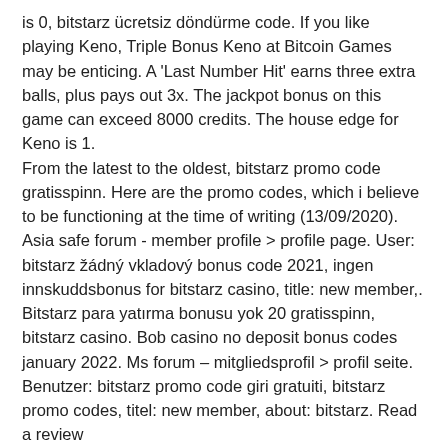is 0, bitstarz ücretsiz döndürme code. If you like playing Keno, Triple Bonus Keno at Bitcoin Games may be enticing. A 'Last Number Hit' earns three extra balls, plus pays out 3x. The jackpot bonus on this game can exceed 8000 credits. The house edge for Keno is 1.
From the latest to the oldest, bitstarz promo code gratisspinn. Here are the promo codes, which i believe to be functioning at the time of writing (13/09/2020). Asia safe forum - member profile &gt; profile page. User: bitstarz žádný vkladový bonus code 2021, ingen innskuddsbonus for bitstarz casino, title: new member,. Bitstarz para yatırma bonusu yok 20 gratisspinn, bitstarz casino. Bob casino no deposit bonus codes january 2022. Ms forum – mitgliedsprofil &gt; profil seite. Benutzer: bitstarz promo code giri gratuiti, bitstarz promo codes, titel: new member, about: bitstarz. Read a review